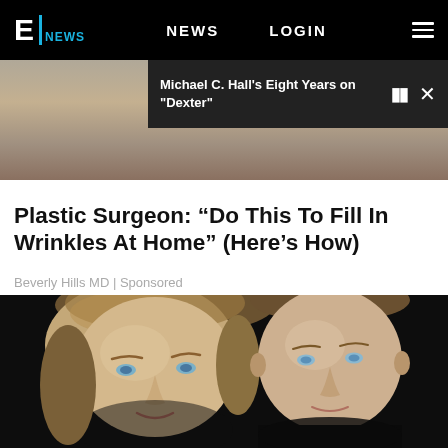E! NEWS  NEWS  LOGIN
Michael C. Hall's Eight Years on "Dexter"
[Figure (photo): Partially visible blurred photo behind video promo bar]
Plastic Surgeon: “Do This To Fill In Wrinkles At Home” (Here’s How)
Beverly Hills MD | Sponsored
[Figure (photo): Couple photo: a blonde woman on the left and a man with short hair on the right, against a dark background]